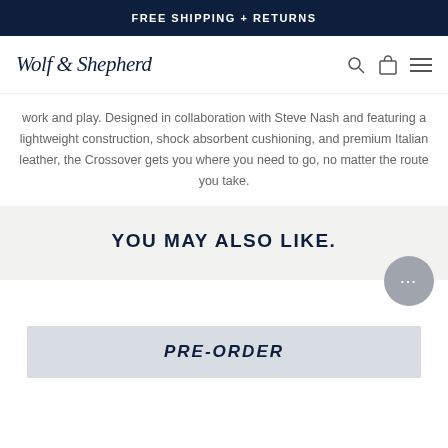FREE SHIPPING + RETURNS
[Figure (logo): Wolf & Shepherd script logo with search, bag, and menu icons in the navigation bar]
work and play. Designed in collaboration with Steve Nash and featuring a lightweight construction, shock absorbent cushioning, and premium Italian leather, the Crossover gets you where you need to go, no matter the route you take.
YOU MAY ALSO LIKE.
PRE-ORDER